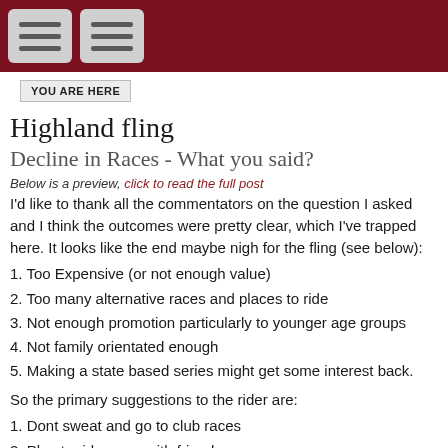[Navigation header with two menu icons on dark red background]
YOU ARE HERE
Highland fling
Decline in Races - What you said?
Below is a preview, click to read the full post
I'd like to thank all the commentators on the question I asked and I think the outcomes were pretty clear, which I've trapped here. It looks like the end maybe nigh for the fling (see below):
1. Too Expensive (or not enough value)
2. Too many alternative races and places to ride
3. Not enough promotion particularly to younger age groups
4. Not family orientated enough
5. Making a state based series might get some interest back.
So the primary suggestions to the rider are:
1. Dont sweat and go to club races
2. Plan to ride away with friends
4 comments   Read more